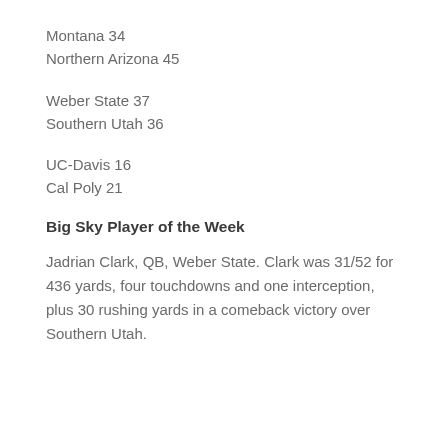Montana 34
Northern Arizona 45
Weber State 37
Southern Utah 36
UC-Davis 16
Cal Poly 21
Big Sky Player of the Week
Jadrian Clark, QB, Weber State. Clark was 31/52 for 436 yards, four touchdowns and one interception, plus 30 rushing yards in a comeback victory over Southern Utah.